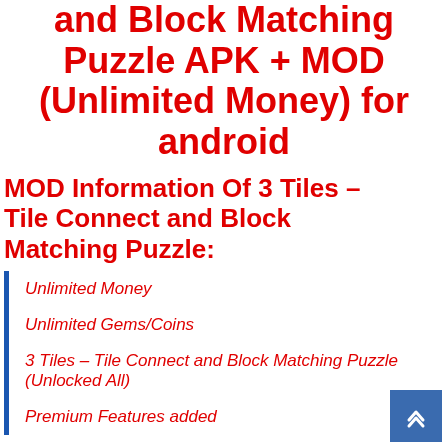and Block Matching Puzzle APK + MOD (Unlimited Money) for android
MOD Information Of 3 Tiles – Tile Connect and Block Matching Puzzle:
Unlimited Money
Unlimited Gems/Coins
3 Tiles – Tile Connect and Block Matching Puzzle (Unlocked All)
Premium Features added